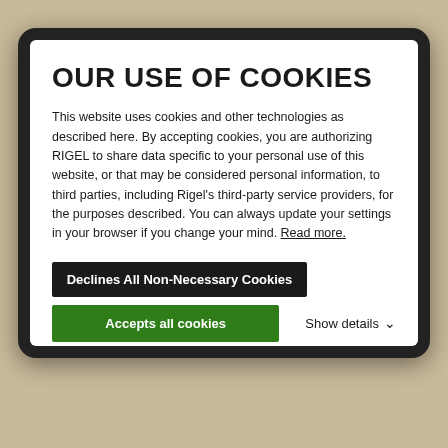OUR USE OF COOKIES
This website uses cookies and other technologies as described here. By accepting cookies, you are authorizing RIGEL to share data specific to your personal use of this website, or that may be considered personal information, to third parties, including Rigel's third-party service providers, for the purposes described. You can always update your settings in your browser if you change your mind. Read more.
Declines All Non-Necessary Cookies
Accepts all cookies
Show details